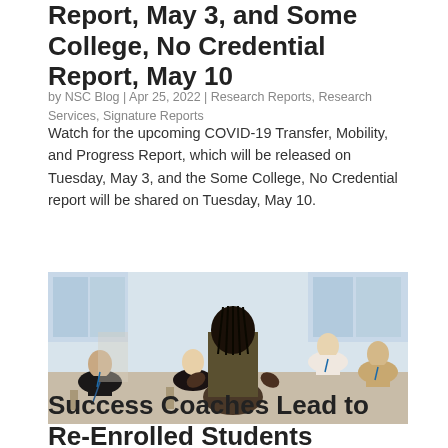Report, May 3, and Some College, No Credential Report, May 10
by NSC Blog | Apr 25, 2022 | Research Reports, Research Services, Signature Reports
Watch for the upcoming COVID-19 Transfer, Mobility, and Progress Report, which will be released on Tuesday, May 3, and the Some College, No Credential report will be shared on Tuesday, May 10.
[Figure (photo): Group of professionals seated in a circle in a bright room, appearing to be in a meeting or discussion. A person with braided hair is seen from behind with hands raised, facing other seated participants who wear lanyards/badges.]
Success Coaches Lead to Re-Enrolled Students